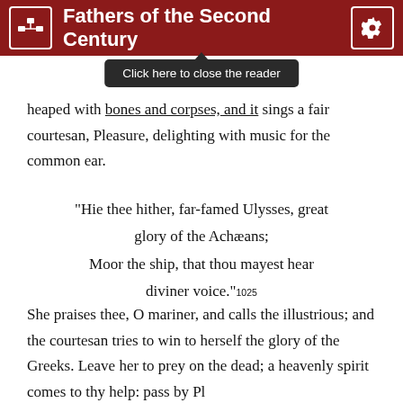Fathers of the Second Century
[Figure (screenshot): Tooltip overlay reading 'Click here to close the reader']
heaped with bones and corpses, and it sings a fair courtesan, Pleasure, delighting with music for the common ear.
“Hie thee hither, far-famed Ulysses, great glory of the Achæans;
Moor the ship, that thou mayest hear diviner voice.” 1025
She praises thee, O mariner, and calls the illustrious; and the courtesan tries to win to herself the glory of the Greeks. Leave her to prey on the dead; a heavenly spirit comes to thy help: pass by Pl